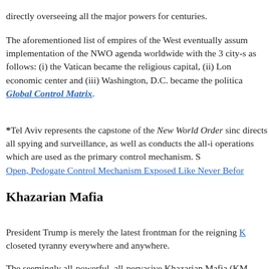directly overseeing all the major powers for centuries.
The aforementioned list of empires of the West eventually assumed implementation of the NWO agenda worldwide with the 3 city-states as follows: (i) the Vatican became the religious capital, (ii) London economic center and (iii) Washington, D.C. became the political Global Control Matrix.
*Tel Aviv represents the capstone of the New World Order since directs all spying and surveillance, as well as conducts the all-in operations which are used as the primary control mechanism. See Open, Pedogate Control Mechanism Exposed Like Never Before
Khazarian Mafia
President Trump is merely the latest frontman for the reigning K closeted tyranny everywhere and anywhere.
The seemingly all-powerful, all-pervasive Khazarian Mafia (KM